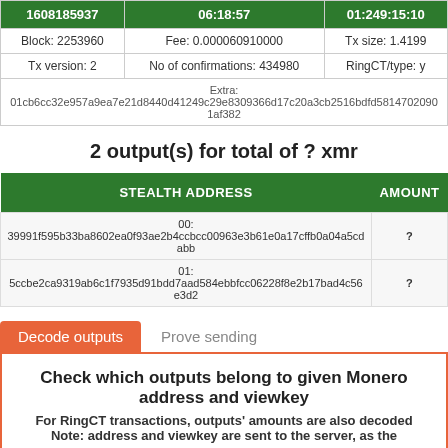| 1608185937 | 06:18:57 | 01:249:15:10 |
| --- | --- | --- |
| Block: 2253960 | Fee: 0.000060910000 | Tx size: 1.4199 |
| Tx version: 2 | No of confirmations: 434980 | RingCT/type: y |
| Extra: 01cb6cc32e957a9ea7e21d8440d41249c29e8309366d17c20a3cb2516bdfd581470209 01af382 |  |  |
2 output(s) for total of ? xmr
| STEALTH ADDRESS | AMOUNT |
| --- | --- |
| 00: 39991f595b33ba8602ea0f93ae2b4ccbcc00963e3b61e0a17cffb0a04a5cdabb | ? |
| 01: 5ccbe2ca9319ab6c1f7935d91bdd7aad584ebbfcc06228f8e2b17bad4c56e3d2 | ? |
Decode outputs | Prove sending
Check which outputs belong to given Monero address and viewkey
For RingCT transactions, outputs' amounts are also decoded
Note: address and viewkey are sent to the server, as the